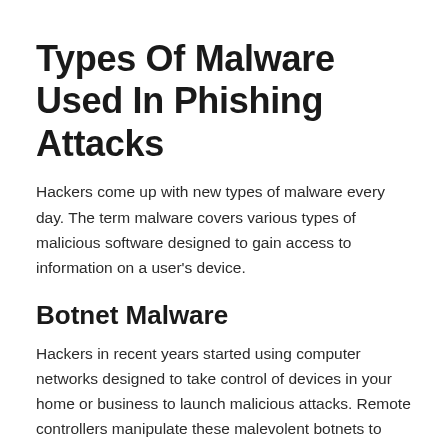Types Of Malware Used In Phishing Attacks
Hackers come up with new types of malware every day. The term malware covers various types of malicious software designed to gain access to information on a user's device.
Botnet Malware
Hackers in recent years started using computer networks designed to take control of devices in your home or business to launch malicious attacks. Remote controllers manipulate these malevolent botnets to turn your devices against you.